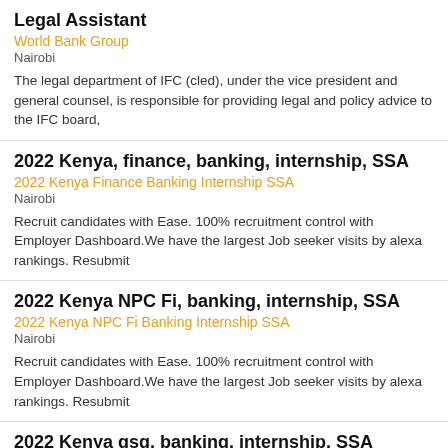Legal Assistant
World Bank Group
Nairobi
The legal department of IFC (cled), under the vice president and general counsel, is responsible for providing legal and policy advice to the IFC board,
2022 Kenya, finance, banking, internship, SSA
2022 Kenya Finance Banking Internship SSA
Nairobi
Recruit candidates with Ease. 100% recruitment control with Employer Dashboard.We have the largest Job seeker visits by alexa rankings. Resubmit
2022 Kenya NPC Fi, banking, internship, SSA
2022 Kenya NPC Fi Banking Internship SSA
Nairobi
Recruit candidates with Ease. 100% recruitment control with Employer Dashboard.We have the largest Job seeker visits by alexa rankings. Resubmit
2022 Kenya gsg, banking, internship, SSA
2022 Kenya Gsg Banking Internship SSA
Nairobi